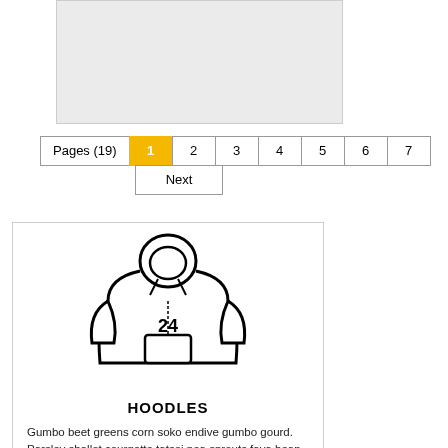[Figure (other): Gray rectangular placeholder image]
Pages (19)  1  2  3  Next  4  5  6  7
[Figure (illustration): Line drawing of a hoodie with number 24 on front]
HOODLES
Gumbo beet greens corn soko endive gumbo gourd. Parsley shallot courgette tatsoi pea sprouts fava bean collard greens dandelion.